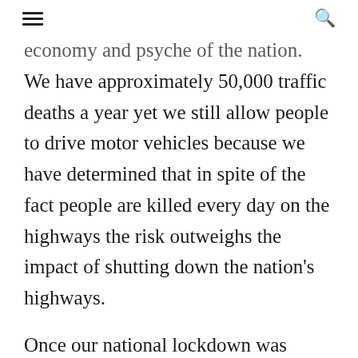☰  🔍
economy and psyche of the nation. We have approximately 50,000 traffic deaths a year yet we still allow people to drive motor vehicles because we have determined that in spite of the fact people are killed every day on the highways the risk outweighs the impact of shutting down the nation's highways.
Once our national lockdown was in full force and...